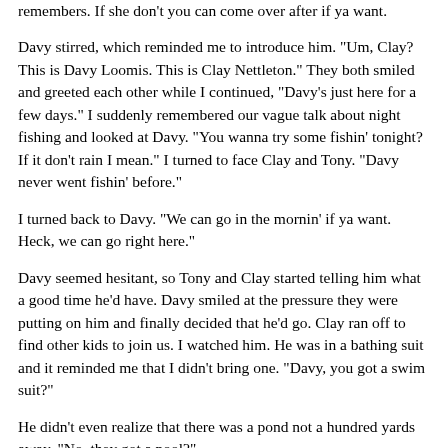remembers. If she don't you can come over after if ya want.
Davy stirred, which reminded me to introduce him. "Um, Clay? This is Davy Loomis. This is Clay Nettleton." They both smiled and greeted each other while I continued, "Davy's just here for a few days." I suddenly remembered our vague talk about night fishing and looked at Davy. "You wanna try some fishin' tonight? If it don't rain I mean." I turned to face Clay and Tony. "Davy never went fishin' before."
I turned back to Davy. "We can go in the mornin' if ya want. Heck, we can go right here."
Davy seemed hesitant, so Tony and Clay started telling him what a good time he'd have. Davy smiled at the pressure they were putting on him and finally decided that he'd go. Clay ran off to find other kids to join us. I watched him. He was in a bathing suit and it reminded me that I didn't bring one. "Davy, you got a swim suit?"
He didn't even realize that there was a pond not a hundred yards away. "No, they got a pool?"
I smiled, "Better. Let's go to my house, I'll lend ya one."
He looked at himself, "I have shorts on. I don't wanna ride all the way back there for a bathing suit."